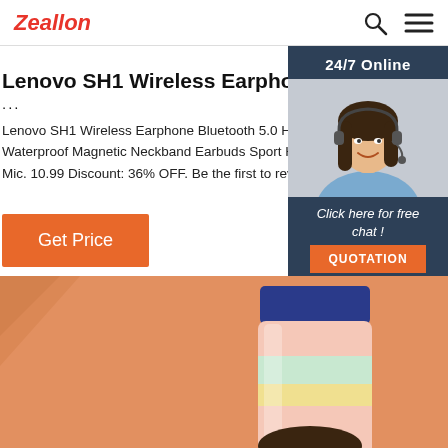Zeallon
Lenovo SH1 Wireless Earphone Bluetooth 5.
Lenovo SH1 Wireless Earphone Bluetooth 5.0 Hea Waterproof Magnetic Neckband Earbuds Sport Hi Mic. 10.99 Discount: 36% OFF. Be the first to revie
Get Price
[Figure (infographic): 24/7 Online chat widget with woman wearing headset, 'Click here for free chat!' text and QUOTATION button]
[Figure (photo): Orange background with a cylindrical product (bottle/container) with blue cap, partially visible]